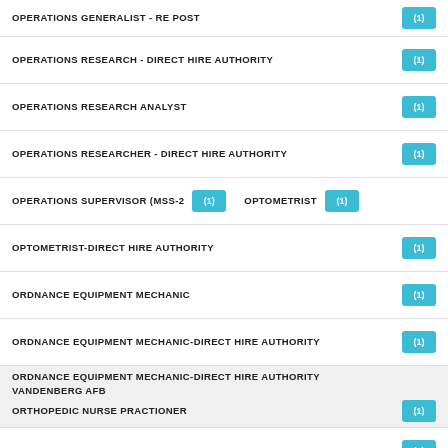OPERATIONS GENERALIST - REPOST (1)
OPERATIONS RESEARCH - DIRECT HIRE AUTHORITY (1)
OPERATIONS RESEARCH ANALYST (1)
OPERATIONS RESEARCHER - DIRECT HIRE AUTHORITY (1)
OPERATIONS SUPERVISOR (MSS-2 (1)   OPTOMETRIST (1)
OPTOMETRIST-DIRECT HIRE AUTHORITY (1)
ORDNANCE EQUIPMENT MECHANIC (1)
ORDNANCE EQUIPMENT MECHANIC-DIRECT HIRE AUTHORITY (1)
ORDNANCE EQUIPMENT MECHANIC-DIRECT HIRE AUTHORITY VANDENBERG AFB
ORTHOPEDIC NURSE PRACTIONER (1)
OVERSEAS PRIVATE INVESTMENT CORPORATION (1)
PHYSICIAN (OCCUPATIONAL MEDICINE) (1)
PHYSICIAN (OCCUPATIONAL MEDICINE) BARSTOW (1)